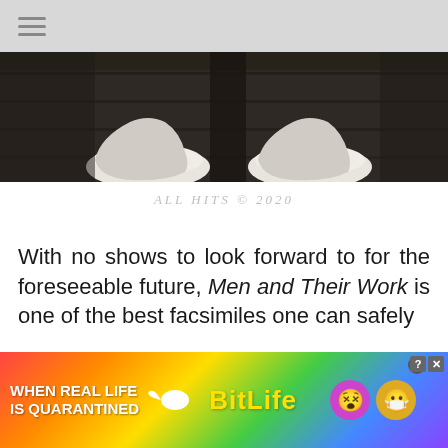[Figure (photo): Close-up black and white photo showing two pairs of shoes/feet from below, against a dark wooden background]
ALL HITS © 2020
With no shows to look forward to for the foreseeable future, Men and Their Work is one of the best facsimiles one can safely experience
[Figure (infographic): BitLife advertisement banner: rainbow background with text 'WHEN REAL LIFE IS QUARANTINED' and BitLife branding with emoji characters]